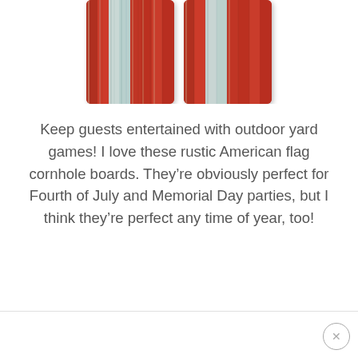[Figure (photo): Two rustic American flag cornhole boards shown side by side, featuring red, white, and light blue weathered wood plank design with a distressed/rustic finish.]
Keep guests entertained with outdoor yard games! I love these rustic American flag cornhole boards. They’re obviously perfect for Fourth of July and Memorial Day parties, but I think they’re perfect any time of year, too!
[Figure (other): Close button (X in circle) in bottom right corner of page, with a thin horizontal divider line across the bottom of the page.]